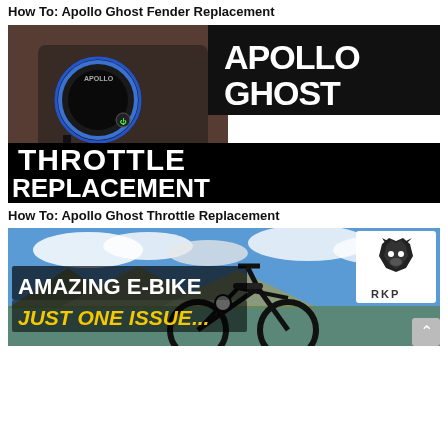How To: Apollo Ghost Fender Replacement
[Figure (screenshot): YouTube thumbnail for Apollo Ghost Throttle Replacement video. Left side shows a close-up of a scooter handlebar with Apollo display and controls, gloved hand visible, brick wall background. Right side has black background with white bold text reading APOLLO GHOST in top right, and two black boxes with large bold black text reading THROTTLE REPLACEMENT.]
How To: Apollo Ghost Throttle Replacement
[Figure (screenshot): YouTube thumbnail showing an e-bike against a mountain/cloudy sky background. Bold white text on left reads AMAZING E-BIKE, below it in yellow italic bold text JUST ONE ISSUE... A wolf/husky logo with RKP text appears in top right corner on white background.]